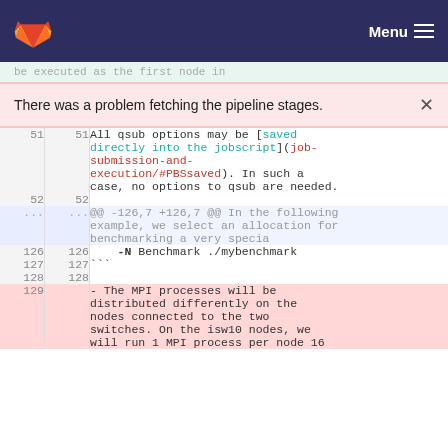GitLab — Menu
There was a problem fetching the pipeline stages.
| old_ln | new_ln | code |
| --- | --- | --- |
| 51 | 51 | All qsub options may be [saved directly into the jobscript](job-submission-and-execution/#PBSsaved). In such a case, no options to qsub are needed. |
| 52 | 52 |  |
| ... | ... | @@ -126,7 +126,7 @@ In the following example, we select an allocation for benchmarking a very specia |
| 126 | 126 |     -N Benchmark ./mybenchmark |
| 127 | 127 | ``` |
| 128 | 128 |  |
| 129 |  | - The MPI processes will be distributed differently on the nodes connected to the two switches. On the isw10 nodes, we will run 1 MPI process per node 16 |